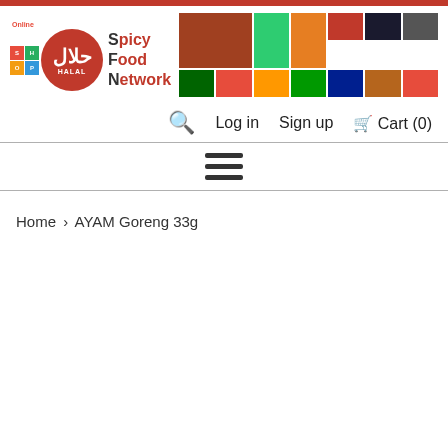[Figure (logo): Online Shop Halal Spicy Food Network logo with Arabic text and banner images of food, electronics, and flags]
Search  Log in  Sign up  Cart (0)
[Figure (other): Hamburger menu icon (three horizontal lines)]
Home › AYAM Goreng 33g